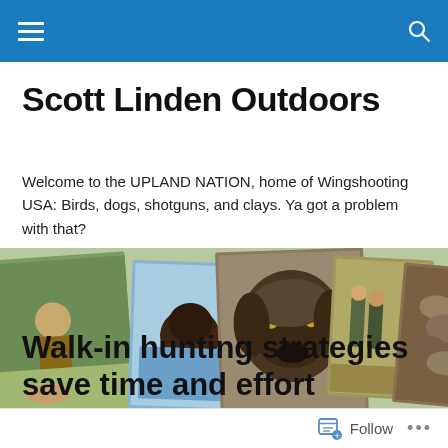Scott Linden Outdoors — navigation bar with hamburger menu and search icon
Scott Linden Outdoors
Welcome to the UPLAND NATION, home of Wingshooting USA: Birds, dogs, shotguns, and clays. Ya got a problem with that?
[Figure (photo): Collage of five overlapping outdoor hunting photos showing hunters in fields, hunting dogs (including close-up of a dog's face), hunters with downed birds, and pheasant/upland game birds.]
Walk-in hunting strategies save time and effort
Follow  •••